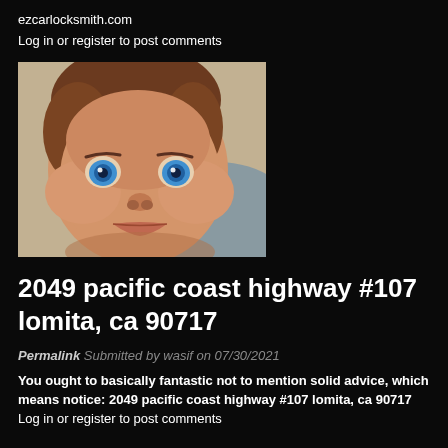ezcarlocksmith.com
Log in or register to post comments
[Figure (photo): Close-up photo of a baby with striking blue eyes and brown hair, looking directly at the camera with a slightly pouty expression, against a blurred background.]
2049 pacific coast highway #107 lomita, ca 90717
Permalink Submitted by wasif on 07/30/2021
You ought to basically fantastic not to mention solid advice, which means notice: 2049 pacific coast highway #107 lomita, ca 90717
Log in or register to post comments